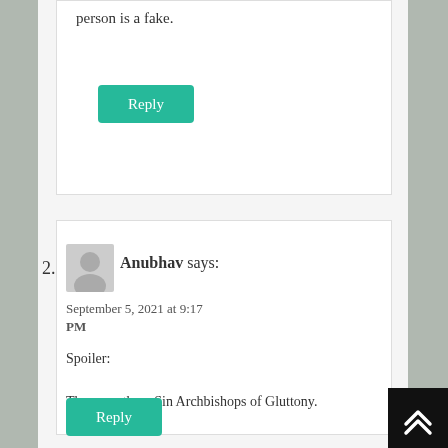person is a fake.
Reply
2.
Anubhav says:
September 5, 2021 at 9:17 PM
Spoiler:

There are three Sin Archbishops of Gluttony.
Reply